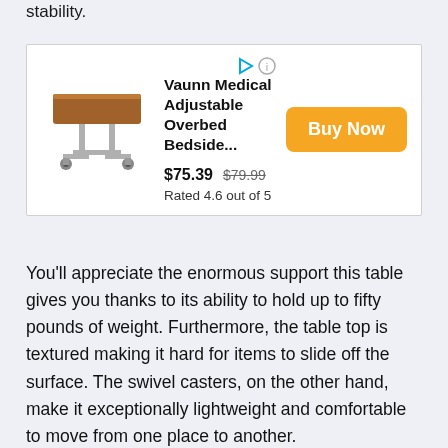stability.
[Figure (screenshot): Advertisement for Vaunn Medical Adjustable Overbed Bedside table showing product image, price $75.39 (was $79.99), rated 4.6 out of 5, with Buy Now button]
You’ll appreciate the enormous support this table gives you thanks to its ability to hold up to fifty pounds of weight. Furthermore, the table top is textured making it hard for items to slide off the surface. The swivel casters, on the other hand, make it exceptionally lightweight and comfortable to move from one place to another.